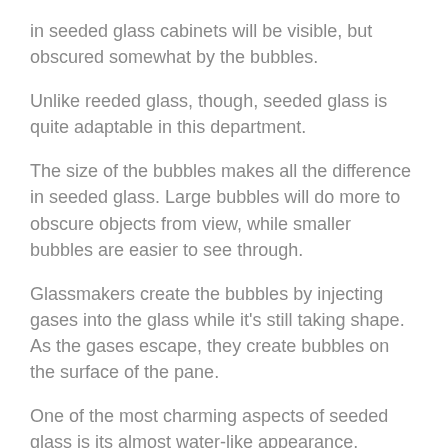in seeded glass cabinets will be visible, but obscured somewhat by the bubbles.
Unlike reeded glass, though, seeded glass is quite adaptable in this department.
The size of the bubbles makes all the difference in seeded glass. Large bubbles will do more to obscure objects from view, while smaller bubbles are easier to see through.
Glassmakers create the bubbles by injecting gases into the glass while it's still taking shape. As the gases escape, they create bubbles on the surface of the pane.
One of the most charming aspects of seeded glass is its almost water-like appearance. [Chat with us] cabinets reflect and play with light in a way no other options can match.